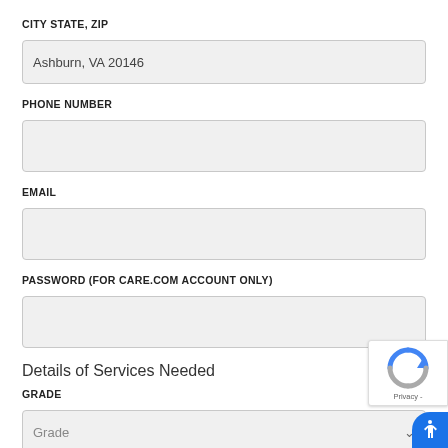CITY STATE, ZIP
Ashburn, VA 20146
PHONE NUMBER
EMAIL
PASSWORD (FOR CARE.COM ACCOUNT ONLY)
Details of Services Needed
GRADE
Grade